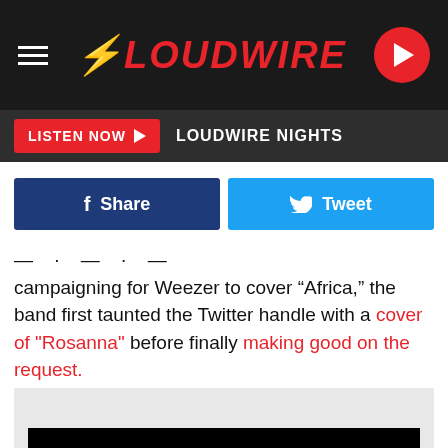LOUDWIRE
LISTEN NOW  LOUDWIRE NIGHTS
[Figure (screenshot): Facebook Share button (dark blue) and Twitter Tweet button (light blue) side by side]
campaigning for Weezer to cover “Africa,” the band first taunted the Twitter handle with a cover of "Rosanna" before finally making good on the request.
[Figure (screenshot): Embedded video player with black video area on light grey background]